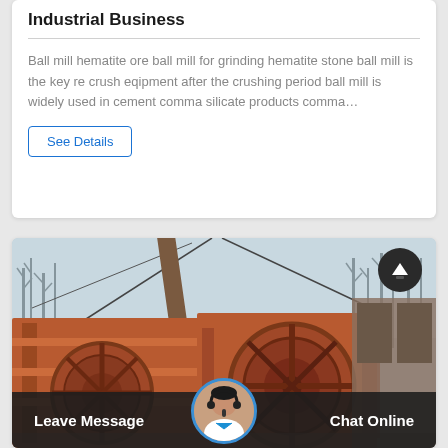Industrial Business
Ball mill hematite ore ball mill for grinding hematite stone ball mill is the key re crush eqipment after the crushing period ball mill is widely used in cement comma silicate products comma…
See Details
[Figure (photo): Large orange/red industrial mining machine (ball mill or similar heavy equipment) photographed outdoors in winter with bare trees in background. A scroll-to-top button is overlaid in the upper right.]
Leave Message   Chat Online